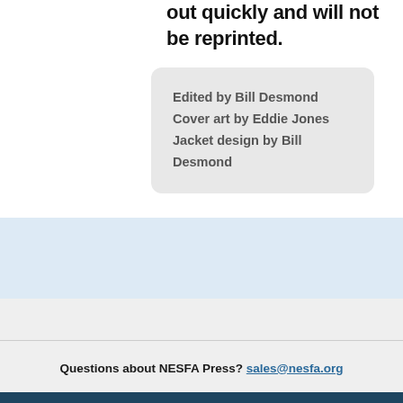out quickly and will not be reprinted.
Edited by Bill Desmond
Cover art by Eddie Jones
Jacket design by Bill Desmond
Questions about NESFA Press? sales@nesfa.org